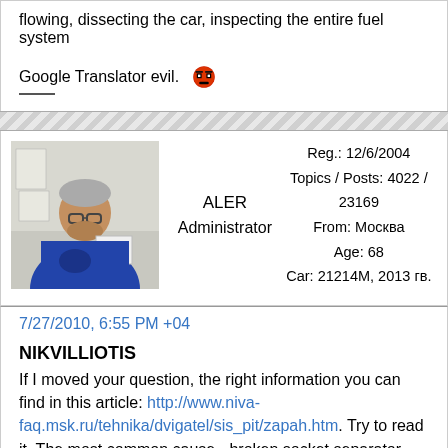flowing, dissecting the car, inspecting the entire fuel system
Google Translator evil. 😈
[Figure (photo): Avatar photo of a middle-aged man in blue shirt reading a paper]
ALER
Administrator
Reg.: 12/6/2004
Topics / Posts: 4022 / 23169
From: Москва
Age: 68
Car: 21214М, 2013 гв.
7/27/2010, 6:55 PM +04
NIKVILLIOTIS
If I moved your question, the right information you can find in this article: http://www.niva-faq.msk.ru/tehnika/dvigatel/sis_pit/zapah.htm. Try to read it. The most common cause - broken socket separator gasoline:

Disassembly of Interior to access the separator in great detail